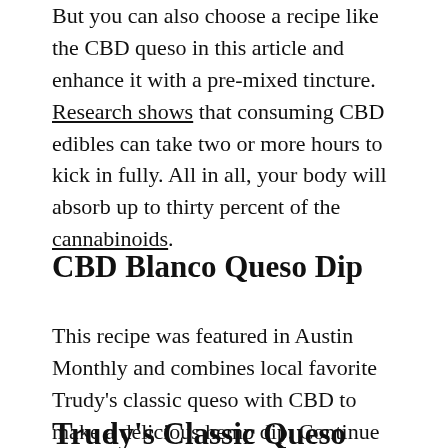But you can also choose a recipe like the CBD queso in this article and enhance it with a pre-mixed tincture. Research shows that consuming CBD edibles can take two or more hours to kick in fully. All in all, your body will absorb up to thirty percent of the cannabinoids.
CBD Blanco Queso Dip
This recipe was featured in Austin Monthly and combines local favorite Trudy's classic queso with CBD to make a delicious hemp dip. Continue reading for the recipe and cooking instructions below.
Trudy's Classic Queso with Earlybird